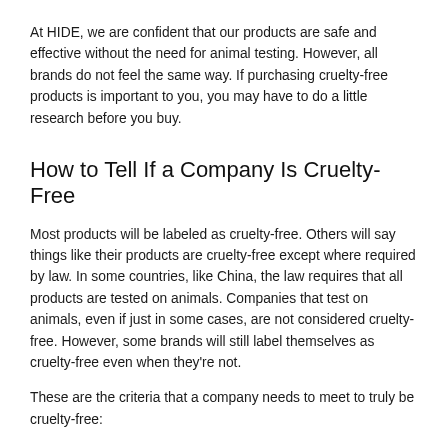At HIDE, we are confident that our products are safe and effective without the need for animal testing. However, all brands do not feel the same way. If purchasing cruelty-free products is important to you, you may have to do a little research before you buy.
How to Tell If a Company Is Cruelty-Free
Most products will be labeled as cruelty-free. Others will say things like their products are cruelty-free except where required by law. In some countries, like China, the law requires that all products are tested on animals. Companies that test on animals, even if just in some cases, are not considered cruelty-free. However, some brands will still label themselves as cruelty-free even when they're not.
These are the criteria that a company needs to meet to truly be cruelty-free:
Products are not tested on animals